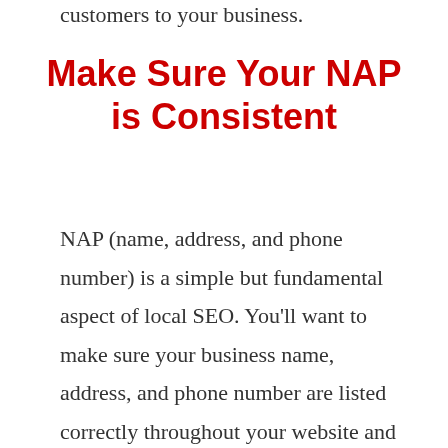customers to your business.
Make Sure Your NAP is Consistent
NAP (name, address, and phone number) is a simple but fundamental aspect of local SEO. You’ll want to make sure your business name, address, and phone number are listed correctly throughout your website and on any other listings on the internet including Yelp, Facebook, and Google My Business, in the same exact way.